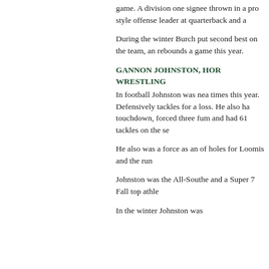game. A division one signee thrown in a pro style offense leader at quarterback and a
During the winter Burch put second best on the team, an rebounds a game this year.
GANNON JOHNSTON, HOR WRESTLING
In football Johnston was nea times this year. Defensively tackles for a loss. He also ha touchdown, forced three fum and had 61 tackles on the se
He also was a force as an of holes for Loomis and the run
Johnston was the All-Southe and a Super 7 Fall top athle
In the winter Johnston was